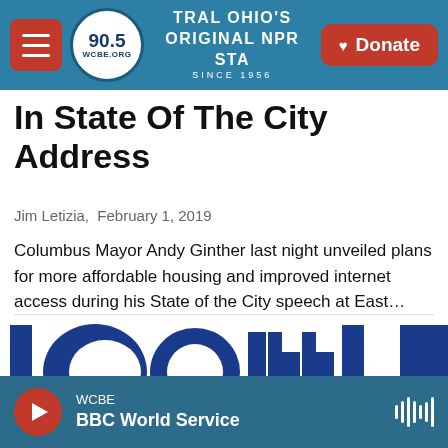90.5 WCBE · CENTRAL OHIO'S ORIGINAL NPR STATION · SINCE 1956 · Donate
In State Of The City Address
Jim Letizia,  February 1, 2019
Columbus Mayor Andy Ginther last night unveiled plans for more affordable housing and improved internet access during his State of the City speech at East...
LISTEN • 0:15
[Figure (logo): Partial view of large blue text logo, letters 'comm' visible in bold blue]
WCBE · BBC World Service